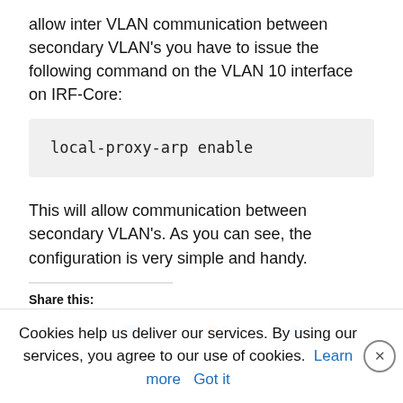allow inter VLAN communication between secondary VLAN's you have to issue the following command on the VLAN 10 interface on IRF-Core:
local-proxy-arp enable
This will allow communication between secondary VLAN's. As you can see, the configuration is very simple and handy.
Share this:
Cookies help us deliver our services. By using our services, you agree to our use of cookies. Learn more  Got it